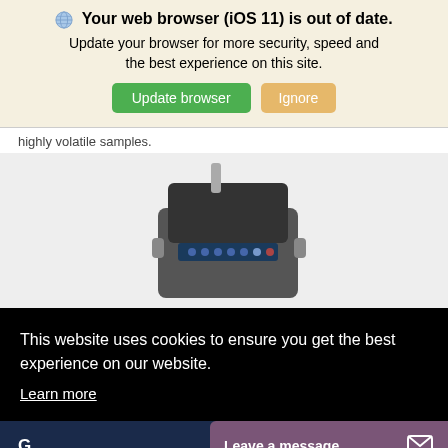Your web browser (iOS 11) is out of date. Update your browser for more security, speed and the best experience on this site.
Update browser | Ignore
highly volatile samples.
[Figure (photo): Scientific instrument / device shown from above against a light gray background]
This website uses cookies to ensure you get the best experience on our website. Learn more
G
Leave a message